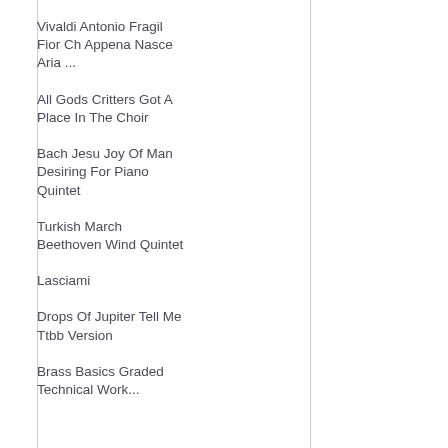Vivaldi Antonio Fragil Fior Ch Appena Nasce Aria ...
All Gods Critters Got A Place In The Choir
Bach Jesu Joy Of Man Desiring For Piano Quintet
Turkish March Beethoven Wind Quintet
Lasciami
Drops Of Jupiter Tell Me Ttbb Version
Brass Basics Graded Technical Work...